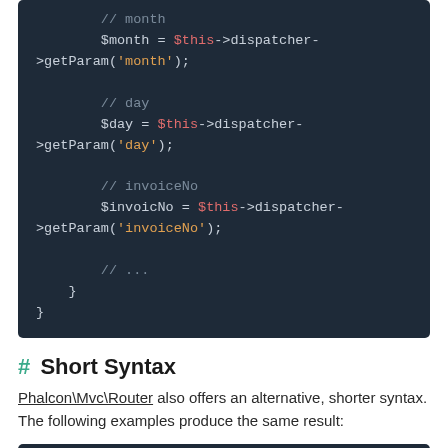[Figure (screenshot): Code block showing PHP code snippet with $month, $day, $invoiceNo variable assignments using $this->dispatcher->getParam(), comments, and closing braces]
# Short Syntax
Phalcon\Mvc\Router also offers an alternative, shorter syntax. The following examples produce the same result:
[Figure (screenshot): Bottom edge of another code block (dark background strip)]